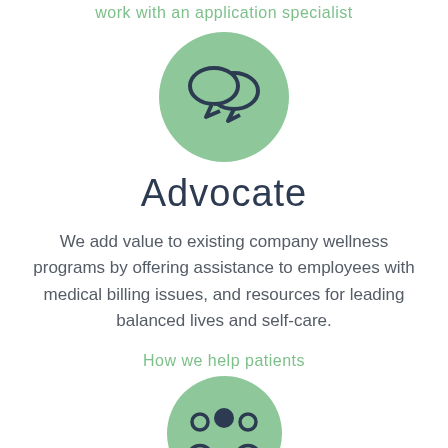work with an application specialist
[Figure (illustration): Green circle with dark navy speech bubble / chat icons inside]
Advocate
We add value to existing company wellness programs by offering assistance to employees with medical billing issues, and resources for leading balanced lives and self-care.
How we help patients
[Figure (illustration): Green circle with dark navy group of people / team icon inside]